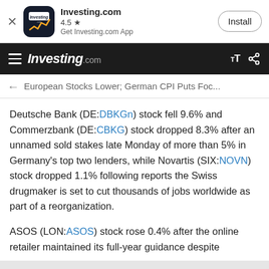[Figure (screenshot): Investing.com app install banner with app icon, name, rating 4.5 stars, subtitle 'Get Investing.com App', and Install button]
Investing.com
← European Stocks Lower; German CPI Puts Foc...
Deutsche Bank (DE:DBKGn) stock fell 9.6% and Commerzbank (DE:CBKG) stock dropped 8.3% after an unnamed sold stakes late Monday of more than 5% in Germany's top two lenders, while Novartis (SIX:NOVN) stock dropped 1.1% following reports the Swiss drugmaker is set to cut thousands of jobs worldwide as part of a reorganization.

ASOS (LON:ASOS) stock rose 0.4% after the online retailer maintained its full-year guidance despite